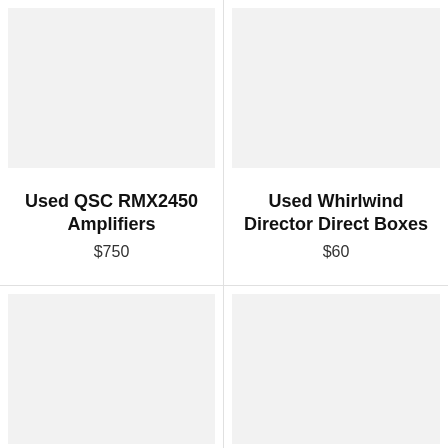[Figure (photo): Product image placeholder for Used QSC RMX2450 Amplifiers]
[Figure (photo): Product image placeholder for Used Whirlwind Director Direct Boxes]
Used QSC RMX2450 Amplifiers
$750
Used Whirlwind Director Direct Boxes
$60
[Figure (photo): Product image placeholder, bottom left]
[Figure (photo): Product image placeholder, bottom right]